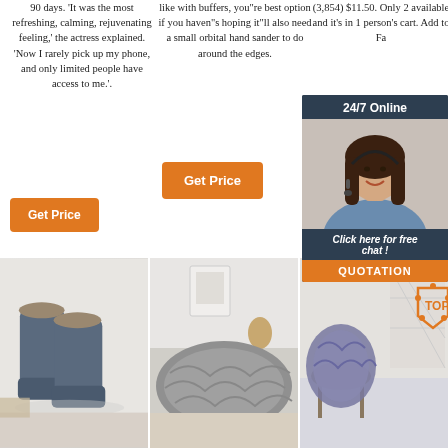90 days. 'It was the most refreshing, calming, rejuvenating feeling,' the actress explained. 'Now I rarely pick up my phone, and only limited people have access to me.'.
like with buffers, you"re best option if you haven"s hoping it"ll also need a small orbital hand sander to do around the edges.
(3,854) $11.50. Only 2 available and it's in 1 person's cart. Add to Fa
[Figure (infographic): 24/7 Online chat widget with photo of woman with headset, 'Click here for free chat!' text and orange QUOTATION button]
[Figure (photo): Blue/grey sheepskin boots on white background]
[Figure (photo): Grey fluffy sheepskin rug on floor]
[Figure (photo): Grey sheepskin on chair with orange TOP badge graphic]